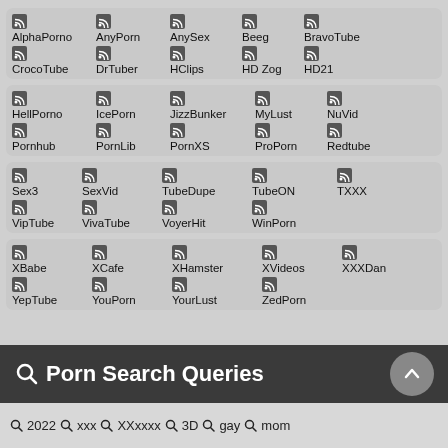AlphaPorno, AnyPorn, AnySex, Beeg, BravoTube, CrocoTube, DrTuber, HClips, HD Zog, HD21
HellPorno, IcePorn, JizzBunker, MyLust, NuVid, Pornhub, PornLib, PornXS, ProPorn, Redtube
Sex3, SexVid, TubeDupe, TubeON, TXXX, VipTube, VivaTube, VoyerHit, WinPorn
XBabe, XCafe, XHamster, XVideos, XXXDan, YepTube, YouPorn, YourLust, ZedPorn
Porn Search Queries
2022 xxx XXxxxx 3D gay mom